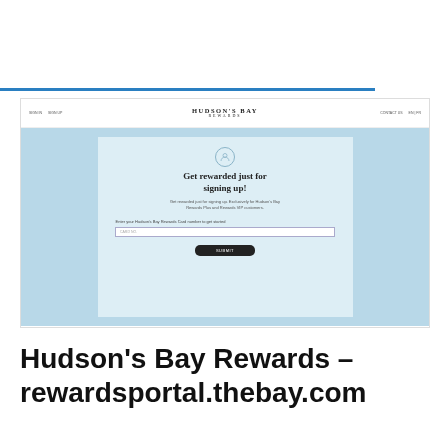[Figure (screenshot): Screenshot of Hudson's Bay Rewards website (rewardsportal.thebay.com) showing a sign-up page with the heading 'Get rewarded just for signing up!' and a card number input field with a Submit button. The page has a light blue background with a white/light card in the center.]
Hudson's Bay Rewards – rewardsportal.thebay.com